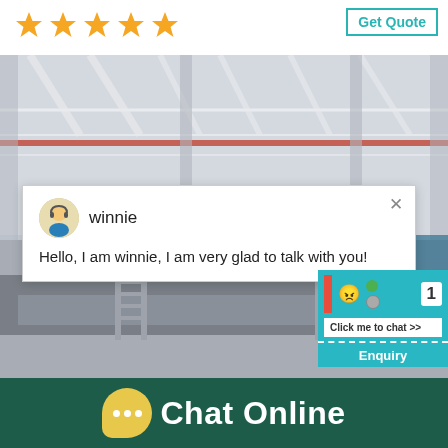[Figure (illustration): Five orange star rating icons in a row]
Get Quote
[Figure (photo): Warehouse interior with truck/flatbed trailer visible at bottom; a chat popup overlay shows avatar of agent named 'winnie' with message: Hello, I am winnie, I am very glad to talk with you!]
winnie
Hello, I am winnie, I am very glad to talk with you!
[Figure (screenshot): Side chat widget with cyan background showing emoji, number 1, Click me to chat >> button, and Enquiry label]
Click me to chat >>
Enquiry
Mi...
[Figure (illustration): Dark green bottom bar with yellow chat bubble icon and Chat Online text in white]